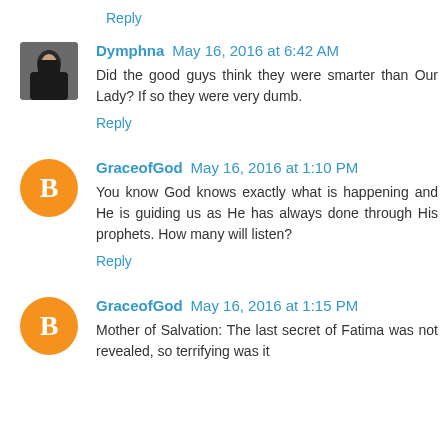Reply
Dymphna May 16, 2016 at 6:42 AM
Did the good guys think they were smarter than Our Lady? If so they were very dumb.
Reply
GraceofGod May 16, 2016 at 1:10 PM
You know God knows exactly what is happening and He is guiding us as He has always done through His prophets. How many will listen?
Reply
GraceofGod May 16, 2016 at 1:15 PM
Mother of Salvation: The last secret of Fatima was not revealed, so terrifying was it